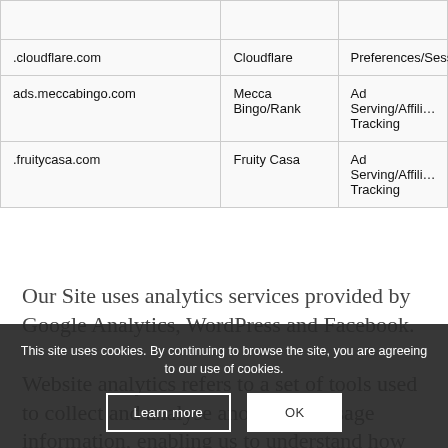| Domain | Provider | Purpose |
| --- | --- | --- |
|  |  |  |
| .cloudflare.com | Cloudflare | Preferences/Session |
| ads.meccabingo.com | Mecca Bingo/Rank | Ad Serving/Affiliate Tracking |
| .fruitycasa.com | Fruity Casa | Ad Serving/Affiliate Tracking |
Our Site uses analytics services provided by Google Analytics, WordPress and Facebook.
Website analytics refers to a set of tools used to collect and analyse anonymous usage information, enabling us to understand how Our Site is used. This enables us to improve Our Site and the services offered through it.
This site uses cookies. By continuing to browse the site, you are agreeing to our use of cookies.